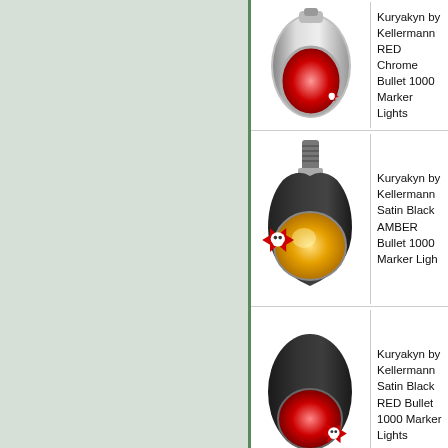[Figure (photo): Kuryakyn by Kellermann RED Chrome Bullet 1000 Marker Light - chrome bullet light with red lens and skull logo]
Kuryakyn by Kellermann RED Chrome Bullet 1000 Marker Lights
[Figure (photo): Kuryakyn by Kellermann Satin Black AMBER Bullet 1000 Marker Light - black bullet light with amber/yellow lens and skull logo]
Kuryakyn by Kellermann Satin Black AMBER Bullet 1000 Marker Ligh
[Figure (photo): Kuryakyn by Kellermann Satin Black RED Bullet 1000 Marker Light - black bullet light with red lens and skull logo]
Kuryakyn by Kellermann Satin Black RED Bullet 1000 Marker Lights
[Figure (photo): Partial view of a round light at the bottom]